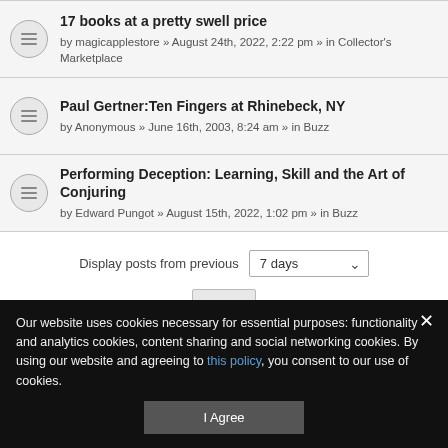17 books at a pretty swell price — by magicapplestore » August 24th, 2022, 2:22 pm » in Collector's Marketplace
Paul Gertner:Ten Fingers at Rhinebeck, NY — by Anonymous » June 16th, 2003, 8:24 am » in Buzz
Performing Deception: Learning, Skill and the Art of Conjuring — by Edward Pungot » August 15th, 2022, 1:02 pm » in Buzz
Display posts from previous: 7 days
Go
Search found 29 matches • Page 1 of 1
Our website uses cookies necessary for essential purposes: functionality and analytics cookies, content sharing and social networking cookies. By using our website and agreeing to this policy, you consent to our use of cookies.
I Agree